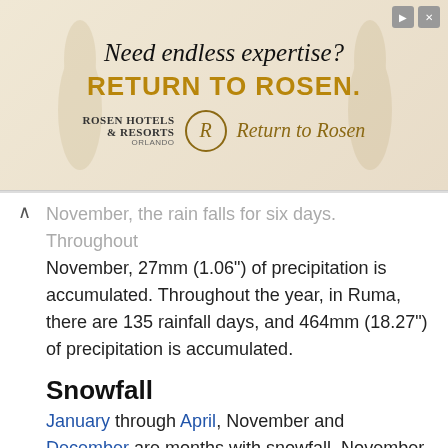[Figure (photo): Advertisement banner for Rosen Hotels & Resorts Orlando. Text reads 'Need endless expertise? RETURN TO ROSEN.' with a script tagline 'Return to Rosen' and the hotel brand logo.]
November, the rain falls for six days. Throughout November, 27mm (1.06") of precipitation is accumulated. Throughout the year, in Ruma, there are 135 rainfall days, and 464mm (18.27") of precipitation is accumulated.
Snowfall
January through April, November and December are months with snowfall. November is the first month it
November
Today  Tomorrow  10 days  Climate